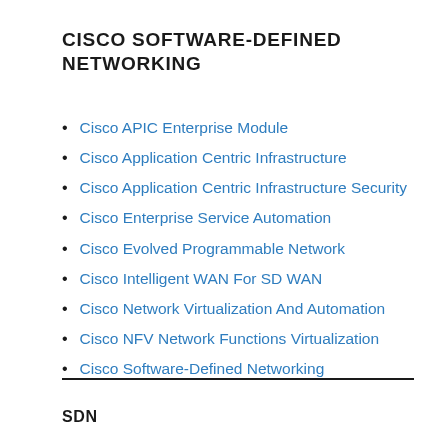CISCO SOFTWARE-DEFINED NETWORKING
Cisco APIC Enterprise Module
Cisco Application Centric Infrastructure
Cisco Application Centric Infrastructure Security
Cisco Enterprise Service Automation
Cisco Evolved Programmable Network
Cisco Intelligent WAN For SD WAN
Cisco Network Virtualization And Automation
Cisco NFV Network Functions Virtualization
Cisco Software-Defined Networking
SDN